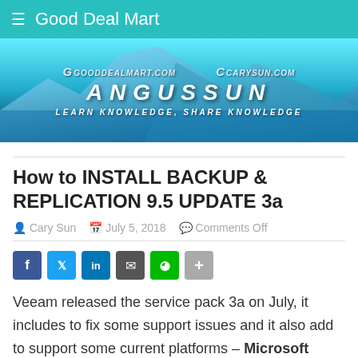Good Deal Mart
[Figure (illustration): Banner image with iceberg/glacier background showing gooddealmart.com and carysun.com logos, ANGUSSUN name, and tagline LEARN KNOWLEDGE, SHARE KNOWLEDGE]
How to INSTALL BACKUP & REPLICATION 9.5 UPDATE 3a
Cary Sun   July 5, 2018   Comments Off
[Figure (infographic): Social share buttons: Facebook, Twitter, LinkedIn, Email, Line, Share]
Veeam released the service pack 3a on July, it includes to fix some support issues and it also add to support some current platforms – Microsoft